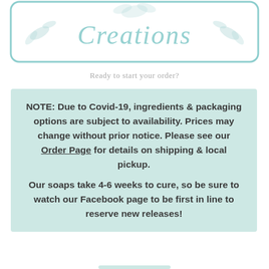[Figure (logo): Decorative script logo with floral/botanical elements in teal/mint color inside a rounded rectangle border]
Ready to start your order?
NOTE: Due to Covid-19, ingredients & packaging options are subject to availability. Prices may change without prior notice. Please see our Order Page for details on shipping & local pickup.
Our soaps take 4-6 weeks to cure, so be sure to watch our Facebook page to be first in line to reserve new releases!